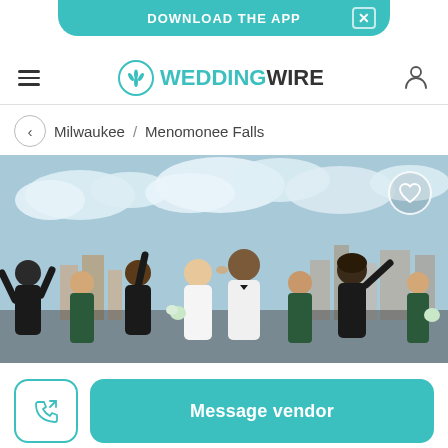[Figure (screenshot): Teal rounded pill banner at top with 'DOWNLOAD THE APP' text and an X close button]
[Figure (logo): WeddingWire logo: teal circle with flower icon and teal/dark text 'WEDDINGWIRE', hamburger menu on left, user icon on right]
Milwaukee / Menomonee Falls
[Figure (photo): Wedding party photo: bride and groom kissing in center, surrounded by bridesmaids in dark green dresses and groomsmen in tuxedos, all celebrating with hands raised, city skyline in background. Heart/favorite icon in top right corner.]
[Figure (screenshot): Bottom action bar with a phone/call icon button on the left (teal border) and a teal 'Message vendor' button on the right]